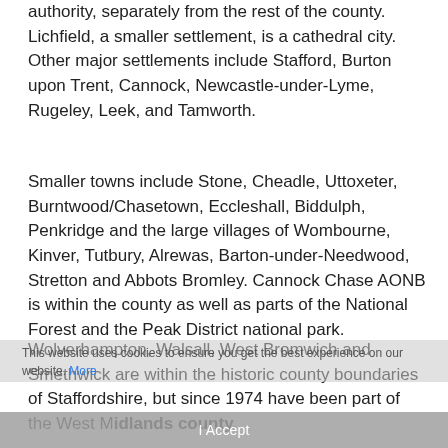authority, separately from the rest of the county. Lichfield, a smaller settlement, is a cathedral city. Other major settlements include Stafford, Burton upon Trent, Cannock, Newcastle-under-Lyme, Rugeley, Leek, and Tamworth.
Smaller towns include Stone, Cheadle, Uttoxeter, Burntwood/Chasetown, Eccleshall, Biddulph, Penkridge and the large villages of Wombourne, Kinver, Tutbury, Alrewas, Barton-under-Needwood, Stretton and Abbots Bromley. Cannock Chase AONB is within the county as well as parts of the National Forest and the Peak District national park.
Wolverhampton, Walsall, West Bromwich and Smethwick are within the historic county boundaries of Staffordshire, but since 1974 have been part of the West Midlands county.